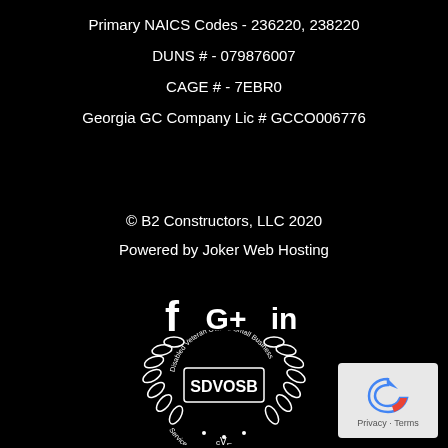Primary NAICS Codes - 236220, 238220
DUNS # - 079876007
CAGE # - 7EBR0
Georgia GC Company Lic # GCCO006776
© B2 Constructors, LLC 2020
Powered by Joker Web Hosting
[Figure (logo): Social media icons: Facebook (f), Google+ (G+), LinkedIn (in)]
[Figure (logo): SDVOSB - Service Disabled Veteran Owned Small Business seal with laurel wreath and CVE text]
[Figure (logo): Privacy - Terms reCAPTCHA badge]